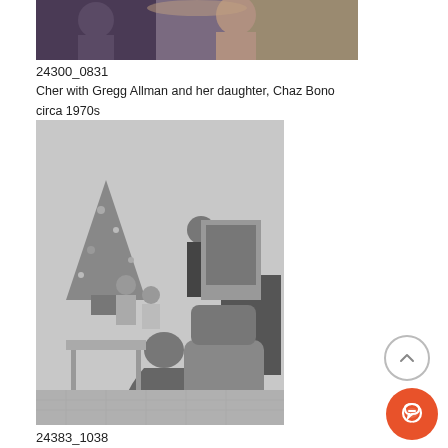[Figure (photo): Partial top photo showing Cher with Gregg Allman and daughter Chaz Bono circa 1970s, color photo cropped at top]
24300_0831
Cher with Gregg Allman and her daughter, Chaz Bono circa 1970s
© Gary Lewis
[Figure (photo): Black and white still from 'It's a Wonderful Life' (1946) showing Donna Reed, James Stewart and children in a Christmas scene with a decorated tree]
24383_1038
"It's a Wonderful Life" Donna Reed, James Stewart 1946 ** I.V.